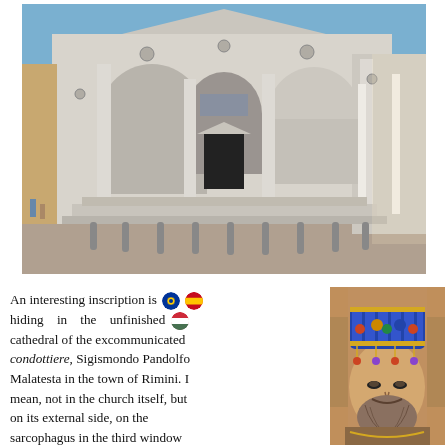[Figure (photo): Exterior facade of an unfinished Renaissance cathedral (Tempio Malatestiano in Rimini) with classical columns, arched niches, and an open doorway, photographed on a sunny day from a low angle. Bollards line the steps in the foreground.]
An interesting inscription is hiding in the unfinished cathedral of the excommunicated condottiere, Sigismondo Pandolfo Malatesta in the town of Rimini. I mean, not in the church itself, but on its external side, on the sarcophagus in the third window niche to the right. Since 1466 here
[Figure (photo): A Byzantine mosaic portrait of a bearded man wearing an ornate blue jeweled crown, shown from the shoulders up, with other figures partially visible behind him.]